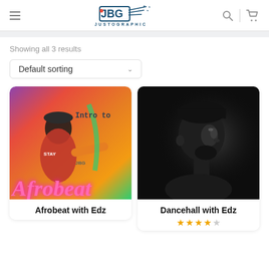JBG JUSTOGRAPHIC — navigation header with search and cart icons
Showing all 3 results
Default sorting
[Figure (photo): Colorful Afrobeat promotional image with a man in red shirt, orange/pink background, text 'Intro to' and 'Afrobeat' in neon pink lettering, JBG watermark]
Afrobeat with Edz
[Figure (photo): Black and white profile photo of a man wearing a black beanie, looking sideways, dark background]
Dancehall with Edz